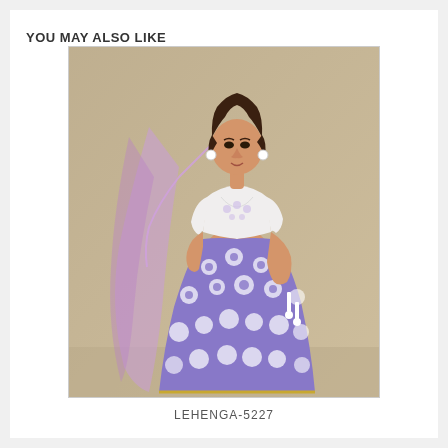YOU MAY ALSO LIKE
[Figure (photo): A woman wearing a purple/lavender floral lehenga set with a white crop top blouse, a purple sheer dupatta draped over her shoulder, and white tassel accents on the skirt. She poses against a beige/brown background.]
LEHENGA-5227